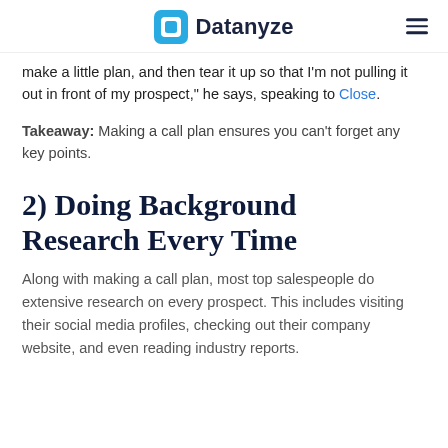Datanyze
make a little plan, and then tear it up so that I'm not pulling it out in front of my prospect," he says, speaking to Close.
Takeaway: Making a call plan ensures you can't forget any key points.
2) Doing Background Research Every Time
Along with making a call plan, most top salespeople do extensive research on every prospect. This includes visiting their social media profiles, checking out their company website, and even reading industry reports.